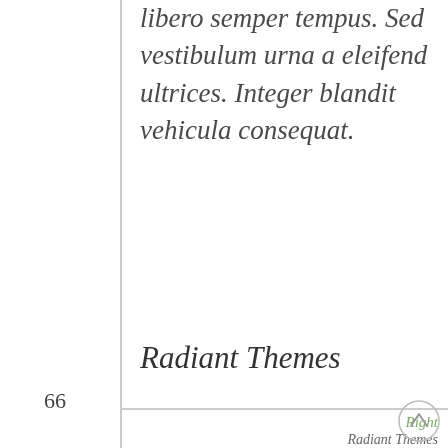libero semper tempus. Sed vestibulum urna a eleifend ultrices. Integer blandit vehicula consequat.
Radiant Themes
66
Right
Radiant Themes